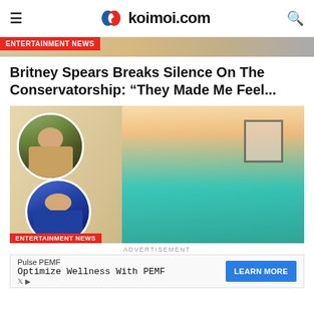koimoi.com
ENTERTAINMENT NEWS
Britney Spears Breaks Silence On The Conservatorship: “They Made Me Feel...
[Figure (photo): Main photo of a man in turquoise blazer with two circular inset photos of other men on the left side. Text overlay reads ENTERTAINMENT NEWS at the bottom left.]
ADVERTISEMENT
Pulse PEMF
Optimize Wellness With PEMF
LEARN MORE